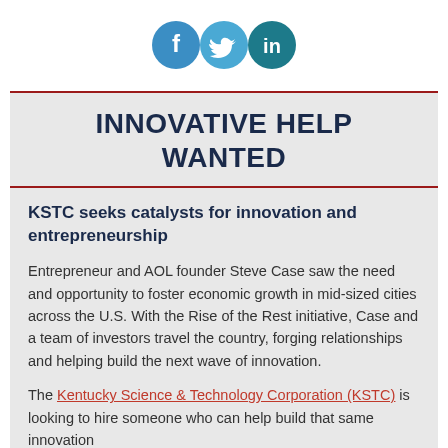[Figure (logo): Three social media icons in a row: Facebook (blue circle with f), Twitter (blue circle with bird), LinkedIn (dark blue/teal circle with 'in')]
INNOVATIVE HELP WANTED
KSTC seeks catalysts for innovation and entrepreneurship
Entrepreneur and AOL founder Steve Case saw the need and opportunity to foster economic growth in mid-sized cities across the U.S. With the Rise of the Rest initiative, Case and a team of investors travel the country, forging relationships and helping build the next wave of innovation.
The Kentucky Science & Technology Corporation (KSTC) is looking to hire someone who can help build that same innovation...